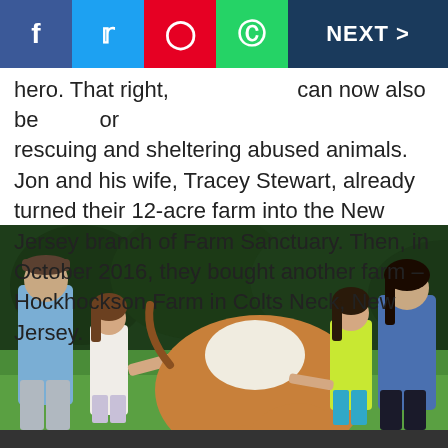Social sharing bar with Facebook, Twitter, Pinterest, WhatsApp, NEXT >
time, Jon Stewart has recently become…an animal hero. That right, can now also be known for rescuing and sheltering abused animals. Jon and his wife, Tracey Stewart, already turned their 12-acre farm into the New Jersey branch of Farm Sanctuary. Then, in October 2016, they bought another farm – Hockhockson Farm in Colts Neck, New Jersey.
[Figure (photo): A family (man in blue t-shirt and cap, two young girls, and a woman) standing outdoors in a green grassy field with a brown and white cow in the center foreground.]